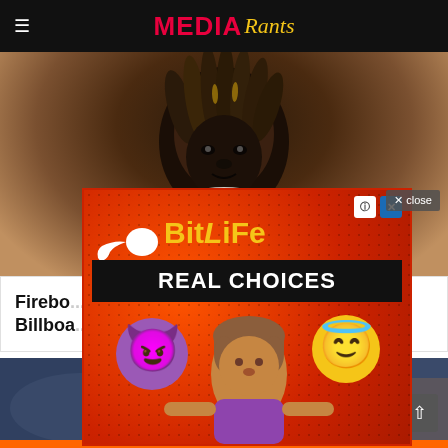MEDIA Rants
[Figure (photo): Portrait photo of a young Black man with dreadlocks and gold accessories, looking directly at camera against a light background]
Firebo... Billboard...
[Figure (photo): Second article thumbnail image — dark scenic photo]
[Figure (advertisement): BitLife mobile game advertisement on red dotted background featuring the text BITLIFE and REAL CHOICES with cartoon emojis of a devil face, an angel face, and a woman character holding them up]
× close